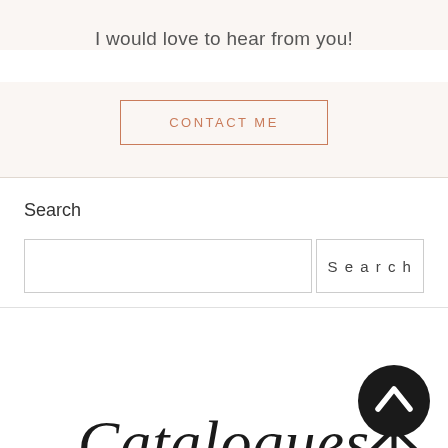I would love to hear from you!
CONTACT ME
Search
Search
[Figure (logo): Script text reading 'Catalogues' in cursive/handwritten style font]
[Figure (logo): Arrow/navigation icon — circular black shape with upward chevron and tripod-like base legs]